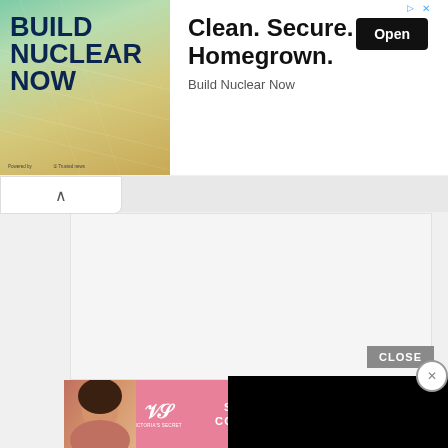[Figure (screenshot): Top banner advertisement for 'Build Nuclear Now'. Left side shows green/tan gradient background with bold dark blue text 'BUILD NUCLEAR NOW'. Right side has headline 'Clean. Secure. Homegrown.' with 'Build Nuclear Now' subtext and black 'Open' button. Ad attribution icon top right.]
[Figure (screenshot): Website UI with collapse arrow button in white bar below top ad.]
[Figure (screenshot): Gray content placeholder area.]
[Figure (screenshot): 22 Words promo banner: teal circle with '22 WORDS', bold text '37 BEAUTY PRODUCTS WITH GOOD REVIEWS YOU MIGHT TRY THEM YOURSELF' (orange highlighted 'BEAUTY PRODUCTS').]
[Figure (screenshot): Black video player overlay with circular X close button.]
[Figure (screenshot): Gray content placeholder area below promo.]
[Figure (screenshot): Gray 'CLOSE' button.]
[Figure (screenshot): Bottom banner ad for Victoria's Secret. Pink background with model photo, VS logo, 'SHOP THE COLLECTION' text, and white 'SHOP NOW' button.]